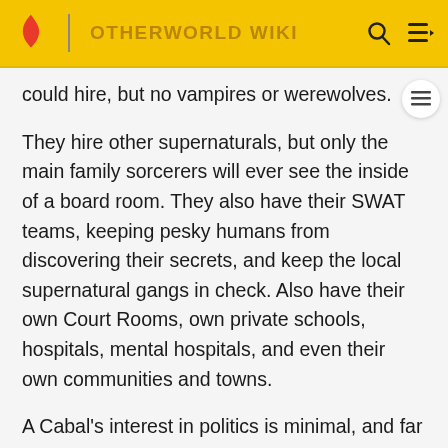OTHERWORLD WIKI
could hire, but no vampires or werewolves.
They hire other supernaturals, but only the main family sorcerers will ever see the inside of a board room. They also have their SWAT teams, keeping pesky humans from discovering their secrets, and keep the local supernatural gangs in check. Also have their own Court Rooms, own private schools, hospitals, mental hospitals, and even their own communities and towns.
A Cabal's interest in politics is minimal, and far more mundane. Yes, there are Cabal members in government, but only to support fiscal policies that benefit the Cabal. The Cabals are all about rules and codes of conduct.